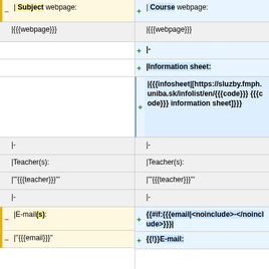| – | Subject webpage: | + | Course webpage: |
| | {{{webpage}}} | | {{{webpage}}} |
|  | + | - |
|  | + | Information sheet: |
|  | + | {{{infosheet|[https://sluzby.fmph.uniba.sk/infolist/en/{{{code}}} {{{code}}} information sheet]}}} |
| | - | | - |
| | Teacher(s): | | Teacher(s): |
| | '''{{{teacher}}}''' | | '''{{{teacher}}}''' |
| | - | | - |
| – | E-mail(s): | + {{#if:{{{email|<noinclude>-</noinclude>}}}| |
| – | ''{{{email}}}'' | + {{!}}E-mail: |